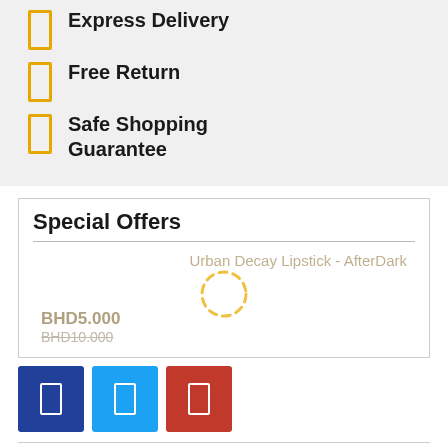Express Delivery
Free Return
Safe Shopping Guarantee
Special Offers
Urban Decay Lipstick - AfterDark
BHD5.000
BHD10.000
[Figure (other): Three social media share buttons: dark blue (Facebook icon), sky blue (Twitter icon), red (Google+ or Pinterest icon)]
Menu  Search  Home  My Cart  Me